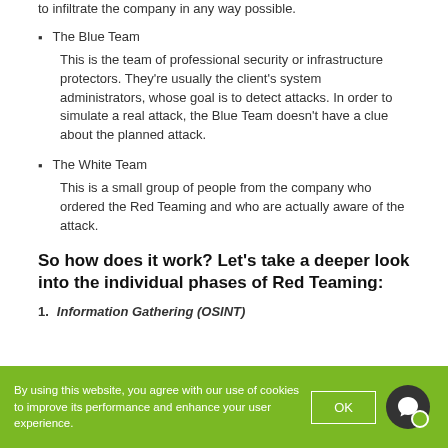to infiltrate the company in any way possible.
The Blue Team
This is the team of professional security or infrastructure protectors. They're usually the client's system administrators, whose goal is to detect attacks. In order to simulate a real attack, the Blue Team doesn't have a clue about the planned attack.
The White Team
This is a small group of people from the company who ordered the Red Teaming and who are actually aware of the attack.
So how does it work? Let's take a deeper look into the individual phases of Red Teaming:
Information Gathering (OSINT)
By using this website, you agree with our use of cookies to improve its performance and enhance your user experience.